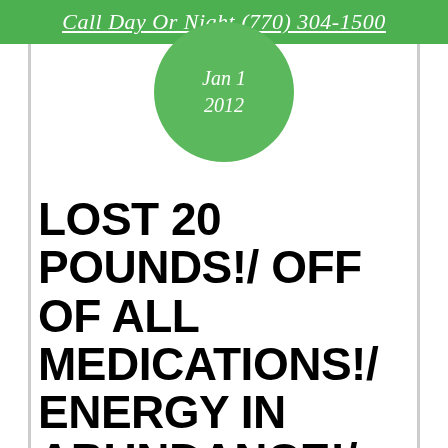Call Day Or Night (770) 304-1500
[Figure (other): Green circle badge showing date 'Jan 1' and year '2012']
LOST 20 POUNDS!/ OFF OF ALL MEDICATIONS!/ ENERGY IN ABUNDANCE!/ NO ANXIETY AT ALL!/MORE CONFIDENCE THAN